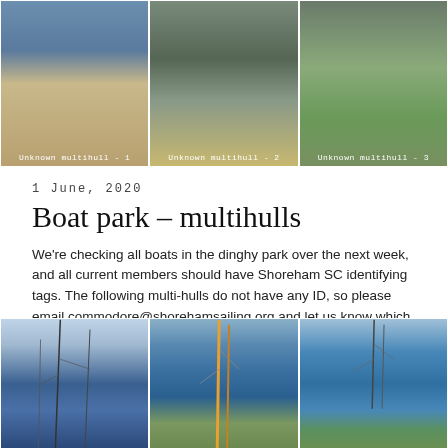[Figure (photo): Three photos of unknown multihull boats on trailers - top row showing wheels and trailer frames]
Unknown multihull - 1
Unknown multihull - 2
Unknown multihull - 3
1 June, 2020
Boat park – multihulls
We're checking all boats in the dinghy park over the next week, and all current members should have Shoreham SC identifying tags. The following multi-hulls do not have any ID, so please email commodore@shorehamsailing.org and let us know which is yours so that we can tag it to confirm that you have paid for this [...]
News
[Figure (photo): Three photos of multihull boats covered with blue tarpaulins in a boat park]